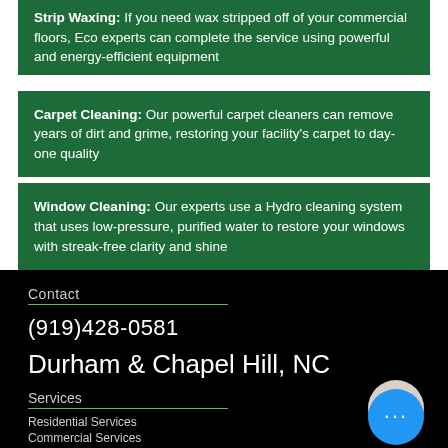Strip Waxing: If you need wax stripped off of your commercial floors, Eco experts can complete the service using powerful and energy-efficient equipment
Carpet Cleaning: Our powerful carpet cleaners can remove years of dirt and grime, restoring your facility's carpet to day-one quality
Window Cleaning: Our experts use a Hydro cleaning system that uses low-pressure, purified water to restore your windows with streak-free clarity and shine
Contact
(919)428-0581
Durham & Chapel Hill, NC
Services
Residential Services
Commercial Services
Let Us Know How We Did